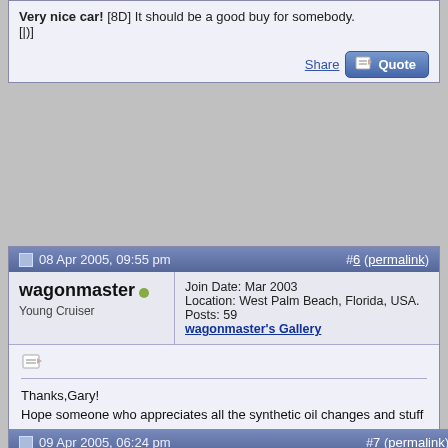Very nice car! [8D] It should be a good buy for somebody. [|)]
Share | Quote
08 Apr 2005, 09:55 pm  #6 (permalink)
wagonmaster  Young Cruiser  Join Date: Mar 2003  Location: West Palm Beach, Florida, USA.  Posts: 59  wagonmaster's Gallery
Thanks,Gary!
Hope someone who appreciates all the synthetic oil changes and stuff like we do gets a chance at it. My wife really doesn't want to sell it, but we must......
All the best,
Joe
Share
USA- Love it or Leave it!
Quote
09 Apr 2005, 06:24 pm  #7 (permalink)